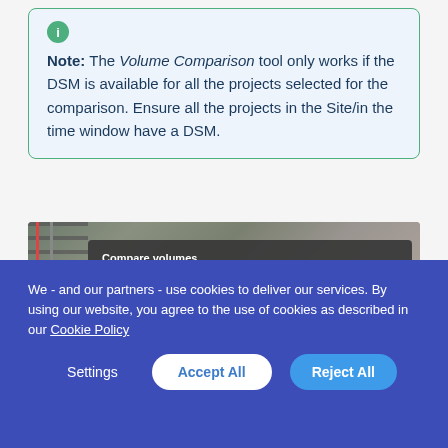Note: The Volume Comparison tool only works if the DSM is available for all the projects selected for the comparison. Ensure all the projects in the Site/in the time window have a DSM.
[Figure (screenshot): Screenshot of the Compare volumes dialog on an aerial map background showing railroad tracks. Dialog text reads: Compare volumes. You will receive the computed data in a csv file at your account: sabrina.cardorpiprot.com]
We - and our partners - use cookies to deliver our services. By using our website, you agree to the use of cookies as described in our Cookie Policy